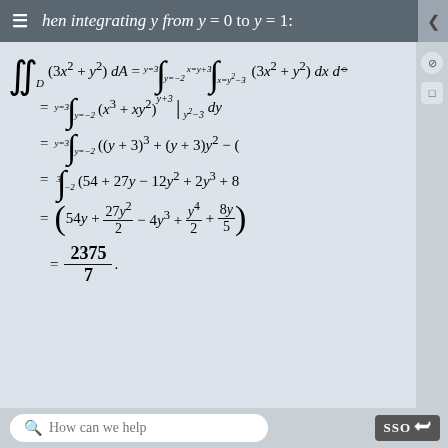hen integrating y from y = 0 to y = 1:
How can we help